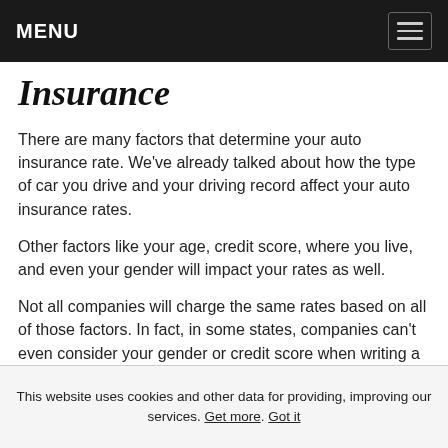MENU
Insurance
There are many factors that determine your auto insurance rate. We've already talked about how the type of car you drive and your driving record affect your auto insurance rates.
Other factors like your age, credit score, where you live, and even your gender will impact your rates as well.
Not all companies will charge the same rates based on all of those factors. In fact, in some states, companies can't even consider your gender or credit score when writing a policy.
This website uses cookies and other data for providing, improving our services. Get more. Got it